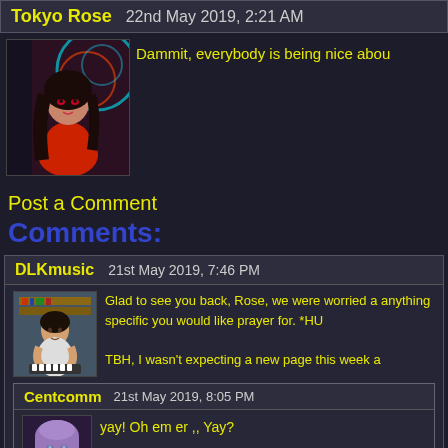Tokyo Rose   22nd May 2019, 2:21 AM
[Figure (photo): Avatar image of Tokyo Rose - animated female character in red dress with dark hair against colorful background]
Dammit, everybody is being nice abou
Post a Comment
Comments:
DLKmusic   21st May 2019, 7:46 PM
[Figure (photo): Avatar image of DLKmusic - person at a piano or keyboard instrument]
Glad to see you back, Rose, we were worried a anything specific you would like prayer for. *HU
TBH, I wasn't expecting a new page this week a
Centcomm   21st May 2019, 8:05 PM
[Figure (photo): Avatar image of Centcomm - animated female character with short purple/lavender hair]
yay! Oh em er ,, Yay?